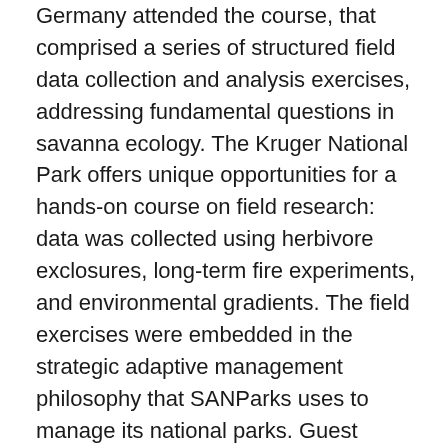Germany attended the course, that comprised a series of structured field data collection and analysis exercises, addressing fundamental questions in savanna ecology. The Kruger National Park offers unique opportunities for a hands-on course on field research: data was collected using herbivore exclosures, long-term fire experiments, and environmental gradients. The field exercises were embedded in the strategic adaptive management philosophy that SANParks uses to manage its national parks. Guest lectures by SANParks scientists provided concrete examples of strategic adaptive management in practice, and how this approach simulates an effective dialogue between science and management.